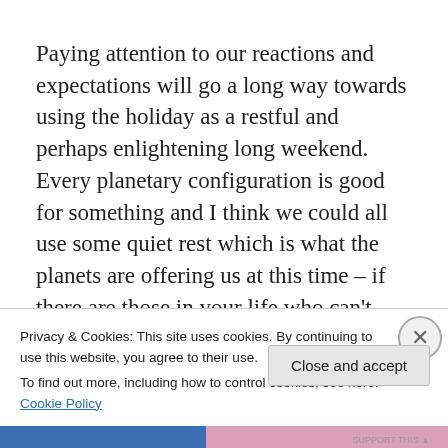Paying attention to our reactions and expectations will go a long way towards using the holiday as a restful and perhaps enlightening long weekend.  Every planetary configuration is good for something and I think we could all use some quiet rest which is what the planets are offering us at this time – if there are those in your life who can't help but overreact it is best to just give them their space
Privacy & Cookies: This site uses cookies. By continuing to use this website, you agree to their use.
To find out more, including how to control cookies, see here: Cookie Policy
Close and accept